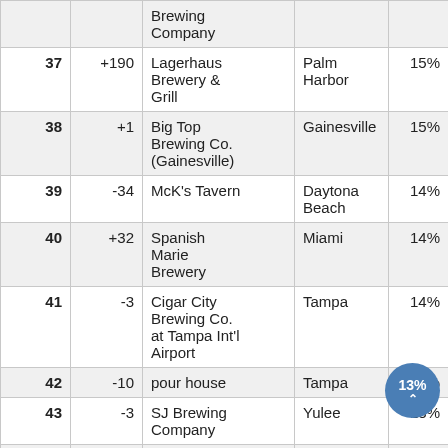| # | Change |  | Name | City | % |
| --- | --- | --- | --- | --- | --- |
|  |  |  | Brewing Company |  |  |
| 37 | +190 |  | Lagerhaus Brewery & Grill | Palm Harbor | 15% |
| 38 | +1 |  | Big Top Brewing Co. (Gainesville) | Gainesville | 15% |
| 39 | -34 |  | McK's Tavern | Daytona Beach | 14% |
| 40 | +32 |  | Spanish Marie Brewery | Miami | 14% |
| 41 | -3 |  | Cigar City Brewing Co. at Tampa Int'l Airport | Tampa | 14% |
| 42 | -10 |  | pour house | Tampa | 13% |
| 43 | -3 |  | SJ Brewing Company | Yulee | 13% |
| 44 | +29 |  | Tactical Brewing Co. | Orlando | 13% |
| 45 | -16 |  | Big Top | Pensacola | 13% |